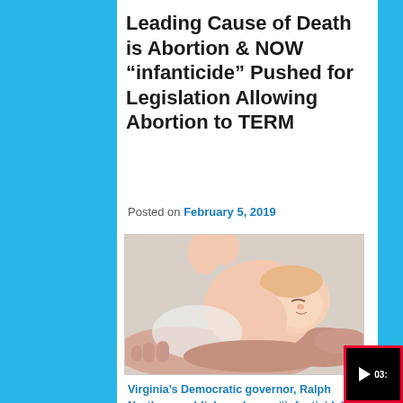Leading Cause of Death is Abortion & NOW “infanticide” Pushed for Legislation Allowing Abortion to TERM
Posted on February 5, 2019
[Figure (photo): A newborn baby sleeping curled up in the palms of two adult hands, on a light beige background.]
Virginia’s Democratic governor, Ralph Northam, publicly endorses “infanticide” as he voices support